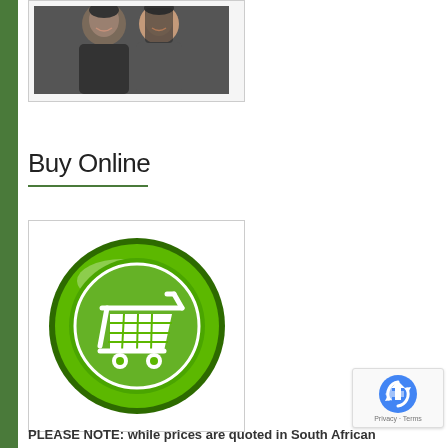[Figure (photo): Photo of a man and woman smiling, cropped at top]
Buy Online
[Figure (illustration): Green glossy circular button with a white shopping cart icon in the center]
PLEASE NOTE: while prices are quoted in South African